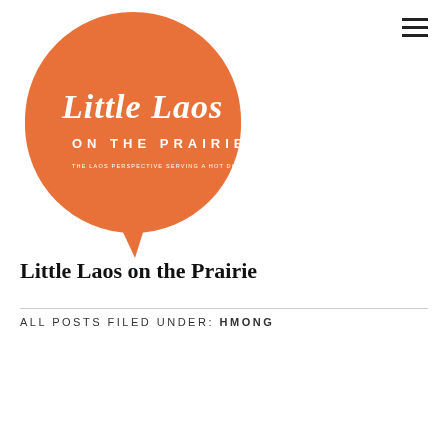[Figure (logo): Little Laos on the Prairie logo: orange speech bubble shape containing cursive text 'Little Laos' and uppercase 'ON THE PRAIRIE' with tagline 'THE LAOS PERSPECTIVE SERVING A HOT DISH OF NEWS, CULTURE & LIFE']
Little Laos on the Prairie
ALL POSTS FILED UNDER: HMONG